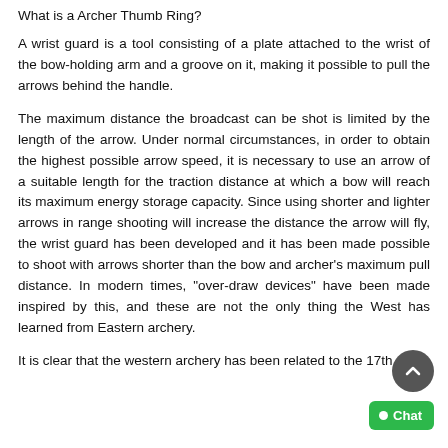What is a Archer Thumb Ring?
A wrist guard is a tool consisting of a plate attached to the wrist of the bow-holding arm and a groove on it, making it possible to pull the arrows behind the handle.
The maximum distance the broadcast can be shot is limited by the length of the arrow. Under normal circumstances, in order to obtain the highest possible arrow speed, it is necessary to use an arrow of a suitable length for the traction distance at which a bow will reach its maximum energy storage capacity. Since using shorter and lighter arrows in range shooting will increase the distance the arrow will fly, the wrist guard has been developed and it has been made possible to shoot with arrows shorter than the bow and archer's maximum pull distance. In modern times, "over-draw devices" have been made inspired by this, and these are not the only thing the West has learned from Eastern archery.
It is clear that the western archery has been related to the 17th...